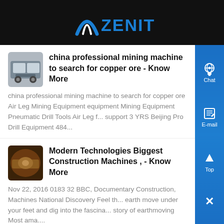[Figure (logo): Zenit logo with blue arc/chevron icon and ZENIT text in blue on dark background]
china professional mining machine to search for copper ore - Know More
china professional mining machine to search for copper ore Air Leg Mining Equipment equipment Mining Equipment Pneumatic Drill Tools Air Leg f... support 3 YRS Beijing Pro Drill Equipment 484...
Modern Technologies Biggest Construction Machines , - Know More
Nov 22, 2016 0183 32 BBC, Documentary Construction, Machines National Discovery Feel the earth move under your feet and dig into the fascina... story of earthmoving Most ama....